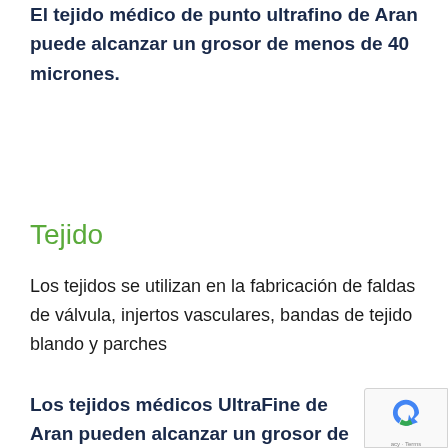El tejido médico de punto ultrafino de Aran puede alcanzar un grosor de menos de 40 micrones.
Tejido
Los tejidos se utilizan en la fabricación de faldas de válvula, injertos vasculares, bandas de tejido blando y parches
Los tejidos médicos UltraFine de Aran pueden alcanzar un grosor de menos de 40